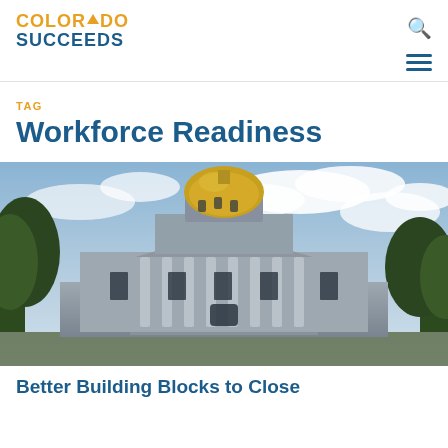COLORADO SUCCEEDS
TAG
Workforce Readiness
[Figure (photo): Photo of the Colorado State Capitol building with golden dome against a partly cloudy sky, flanked by trees]
Better Building Blocks to Close